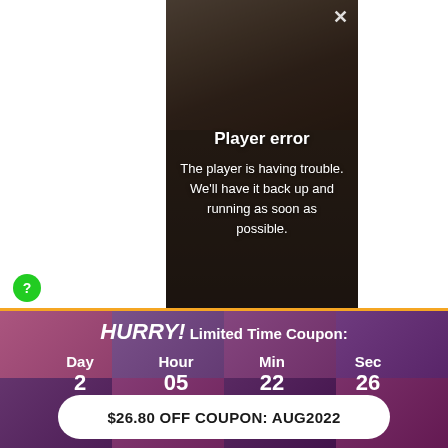[Figure (screenshot): Video player showing a person's face with a 'Player error' overlay message on a dark background]
Player error
The player is having trouble. We'll have it back up and running as soon as possible.
[Figure (screenshot): Purple banner with face grid background showing a countdown timer and coupon offer]
HURRY! Limited Time Coupon:
Day 2  Hour 05  Min 22  Sec 26
$26.80 OFF COUPON: AUG2022